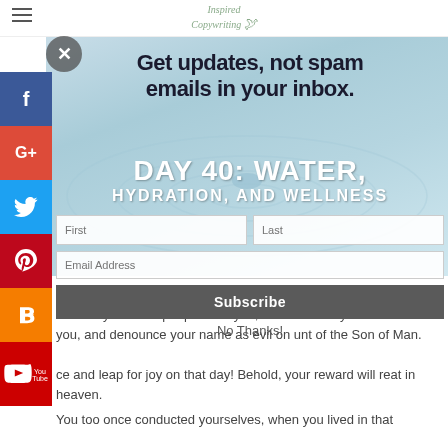Inspired Copywriting
[Figure (screenshot): Popup overlay on a blog page showing email subscription form with water droplet background image. Title reads: Get updates, not spam emails in your inbox. Form fields for First name, Last name, Email Address. Subscribe button and No Thanks link. DAY 40: WATER, HYDRATION, AND WELLNESS text overlay on background image. Social media sidebar icons: Facebook, Google+, Twitter, Pinterest, Blogger, YouTube.]
sed are you when people hate you, and when they ude and insult you, and denounce your name as evil on unt of the Son of Man.
ce and leap for joy on that day! Behold, your reward will reat in heaven.
You too once conducted yourselves, when you lived in that